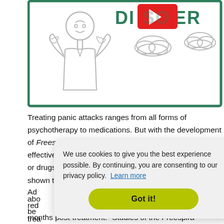[Figure (illustration): Illustration showing a worried man with raised hands, clouds in background, and large text 'DISORDER' with a red arrow. Bordered with dark green rectangle.]
Treating panic attacks ranges from all forms of psychotherapy to medications. But with the development of Freespira, panic attacks may have the potential to be effectively treated at home without the need of therapy or drugs. With a recent clinical study, Freespira was shown to b[e...] abo[ut...] be[...]
Ad[ditionally...] red[uced...] trea[tment...] months post-treatment. "Studies of the Freespira
We use cookies to give you the best experience possible. By continuing, you are consenting to our privacy policy. Learn more
Got it!